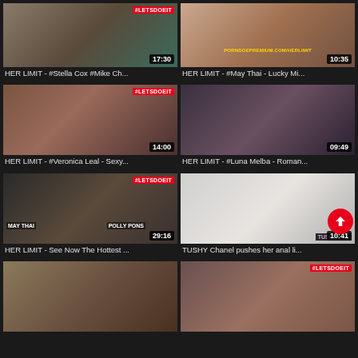[Figure (screenshot): Video thumbnail grid showing adult content video listings with thumbnails, duration badges, and titles]
HER LIMIT - #Stella Cox #Mike Ch...
HER LIMIT - #May Thai - Lucky Mi...
HER LIMIT - #Veronica Leal - Sexy...
HER LIMIT - #Luna Melba - Roman...
HER LIMIT - See Now The Hottest ...
TUSHY Chanel pushes her anal li...